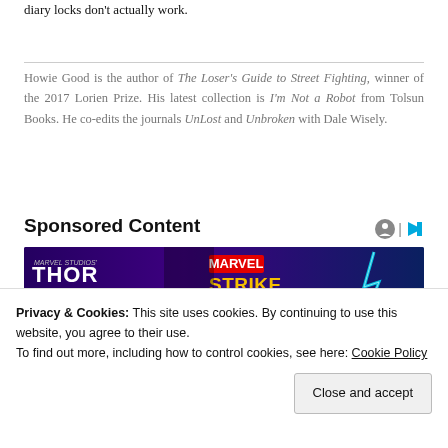diary locks don't actually work.
Howie Good is the author of The Loser's Guide to Street Fighting, winner of the 2017 Lorien Prize. His latest collection is I'm Not a Robot from Tolsun Books. He co-edits the journals UnLost and Unbroken with Dale Wisely.
Sponsored Content
[Figure (photo): Thor: Love and Thunder / Marvel Strike Force advertisement banner showing a Marvel character and the game logo]
Privacy & Cookies: This site uses cookies. By continuing to use this website, you agree to their use.
To find out more, including how to control cookies, see here: Cookie Policy
Close and accept